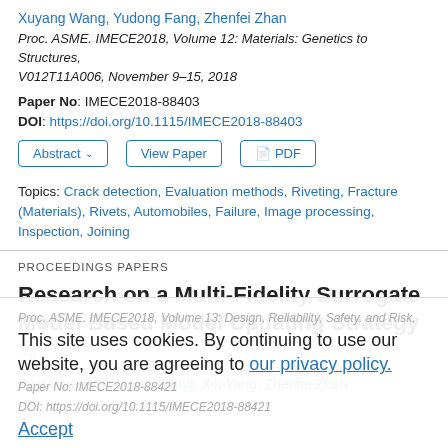Xuyang Wang, Yudong Fang, Zhenfei Zhan
Proc. ASME. IMECE2018, Volume 12: Materials: Genetics to Structures, V012T11A006, November 9–15, 2018
Paper No: IMECE2018-88403
DOI: https://doi.org/10.1115/IMECE2018-88403
Abstract ∨   View Paper   📄 PDF
Topics: Crack detection, Evaluation methods, Riveting, Fracture (Materials), Rivets, Automobiles, Failure, Image processing, Inspection, Joining
PROCEEDINGS PAPERS
Research on a Multi-Fidelity Surrogate Model Based Model Updating Strategy 🛒
Ping Wang, Qingmiao Wang, Xin Yang, Zhenfei Zhan
This site uses cookies. By continuing to use our website, you are agreeing to our privacy policy. Accept